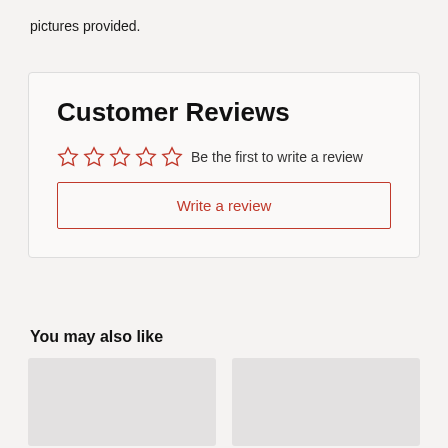pictures provided.
Customer Reviews
☆☆☆☆☆  Be the first to write a review
Write a review
You may also like
[Figure (photo): Two placeholder product image boxes side by side]